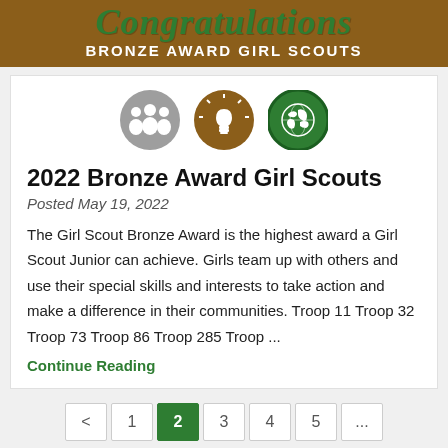Congratulations BRONZE AWARD GIRL SCOUTS
[Figure (illustration): Three circular icons: gray circle with people silhouettes, brown circle with lightbulb, green circle with globe/earth]
2022 Bronze Award Girl Scouts
Posted May 19, 2022
The Girl Scout Bronze Award is the highest award a Girl Scout Junior can achieve. Girls team up with others and use their special skills and interests to take action and make a difference in their communities. Troop 11 Troop 32 Troop 73 Troop 86 Troop 285 Troop ...
Continue Reading